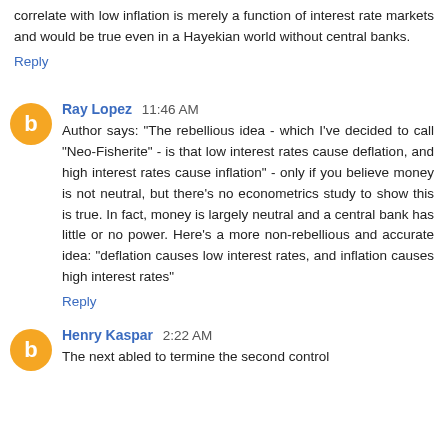correlate with low inflation is merely a function of interest rate markets and would be true even in a Hayekian world without central banks.
Reply
Ray Lopez 11:46 AM
Author says: "The rebellious idea - which I've decided to call "Neo-Fisherite" - is that low interest rates cause deflation, and high interest rates cause inflation" - only if you believe money is not neutral, but there's no econometrics study to show this is true. In fact, money is largely neutral and a central bank has little or no power. Here's a more non-rebellious and accurate idea: "deflation causes low interest rates, and inflation causes high interest rates"
Reply
Henry Kaspar 2:22 AM
The nextabled to determine the second control